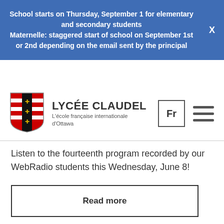School starts on Thursday, September 1 for elementary and secondary students Maternelle: staggered start of school on September 1st or 2nd depending on the email sent by the principal
[Figure (logo): Lycée Claudel school crest/shield logo with red and white horizontal stripes and black vertical stripe with gold fleurs-de-lis]
LYCÉE CLAUDEL
L'école française internationale d'Ottawa
Listen to the fourteenth program recorded by our WebRadio students this Wednesday, June 8!
Read more